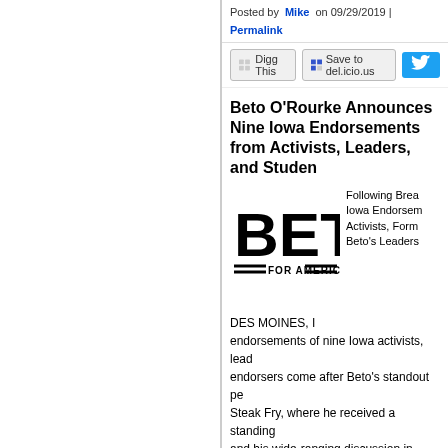Posted by Mike on 09/29/2019 | Permalink
Beto O'Rourke Announces Nine Iowa Endorsements from Activists, Leaders, and Students
[Figure (logo): Beto for America campaign logo in bold black block letters]
Following Breakthrough Iowa Endorsements from Activists, Former Officials, Beto's Leaders Across Iowa
DES MOINES, I... endorsements of nine Iowa activists, lead... endorsers come after Beto's standout pe... Steak Fry, where he received a standing... and his wide-ranging discussion in Wate... intersection of poverty and race, and tra... in Iowa's largest cities and smallest town... for granted. Today's endorsements bring
“Beto’s approach is paying off across Io… our gun violence epidemic, to fighting fo… and these endorsements show that we’re